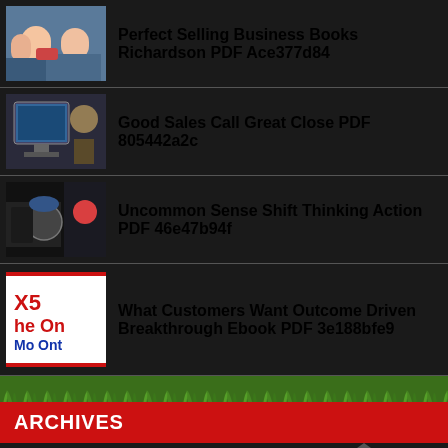Perfect Selling Business Books Richardson PDF Ace377d84
Good Sales Call Great Close PDF 805442a2c
Uncommon Sense Shift Thinking Action PDF 46e47b94f
What Customers Want Outcome Driven Breakthrough Ebook PDF 3e188bfe9
[Figure (illustration): Grass/nature decorative banner strip]
ARCHIVES
August 2022 (39)